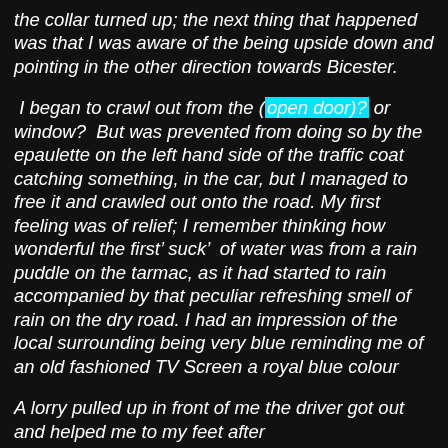the collar turned up; the next thing that happened was that I was aware of the being upside down and pointing in the other direction towards Bicester.
I began to crawl out from the (open door)? or window?  But was prevented from doing so by the epaulette on the left hand side of the traffic coat catching something, in the car, but I managed to free it and crawled out onto the road. My first feeling was of relief; I remember thinking how wonderful the first’ suck’  of water was from a rain puddle on the tarmac, as it had started to rain accompanied by that peculiar refreshing smell of rain on the dry road. I had an impression of the local surrounding being very blue reminding me of an old fashioned TV Screen a royal blue colour
A lorry pulled up in front of me the driver got out and helped me to my feet after